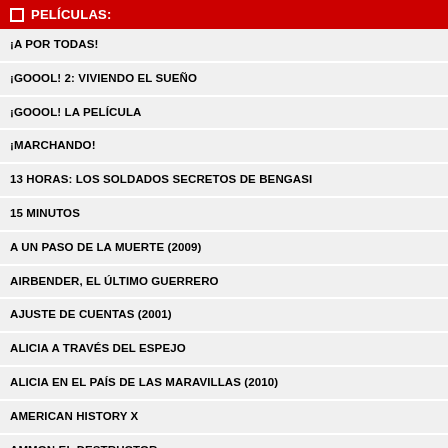□ PELÍCULAS:
¡A POR TODAS!
¡GOOOL! 2: VIVIENDO EL SUEÑO
¡GOOOL! LA PELÍCULA
¡MARCHANDO!
13 HORAS: LOS SOLDADOS SECRETOS DE BENGASI
15 MINUTOS
A UN PASO DE LA MUERTE (2009)
AIRBENDER, EL ÚLTIMO GUERRERO
AJUSTE DE CUENTAS (2001)
ALICIA A TRAVÉS DEL ESPEJO
ALICIA EN EL PAÍS DE LAS MARAVILLAS (2010)
AMERICAN HISTORY X
AMMON EL DESTRUCTOR
AQUÍ LLEGA CONDEMOR, EL PECADOR DE LA PRADERA